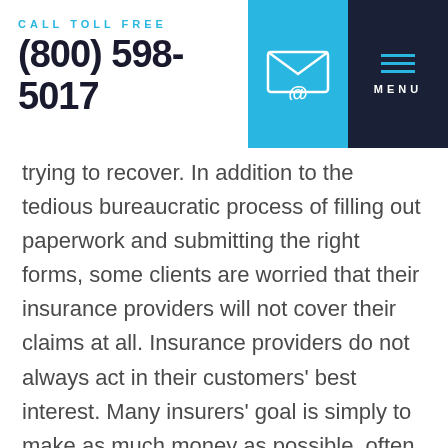CALL TOLL FREE (800) 598-5017
trying to recover. In addition to the tedious bureaucratic process of filling out paperwork and submitting the right forms, some clients are worried that their insurance providers will not cover their claims at all. Insurance providers do not always act in their customers' best interest. Many insurers' goal is simply to make as much money as possible, often at their clients' expense. This leads them to wrongfully deny their policyholders'